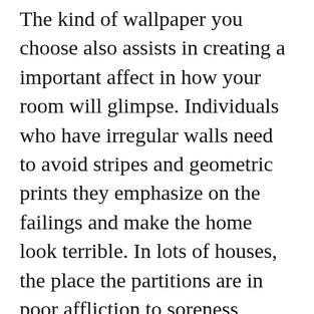The kind of wallpaper you choose also assists in creating a important affect in how your room will glimpse. Individuals who have irregular walls need to avoid stripes and geometric prints they emphasize on the failings and make the home look terrible. In lots of houses, the place the partitions are in poor affliction to soreness, printed wallpaper is much cheaper to utilize. Another exciting method to address outdated partitions is by making use of function walls. Attribute walls need not be made by just applying wallpaper. It ought to be added Normally and also the eyes should direct The natural way to it. Wallpaper is the finest wallpaper when used effectively